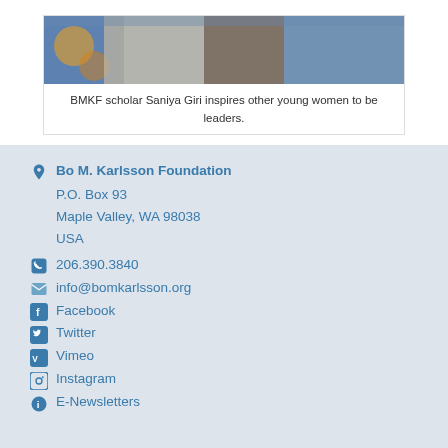[Figure (photo): Partial photo of BMKF scholar Saniya Giri at the top of the page, showing colorful clothing]
BMKF scholar Saniya Giri inspires other young women to be leaders.
Bo M. Karlsson Foundation
P.O. Box 93
Maple Valley, WA 98038
USA
206.390.3840
info@bomkarlsson.org
Facebook
Twitter
Vimeo
Instagram
E-Newsletters